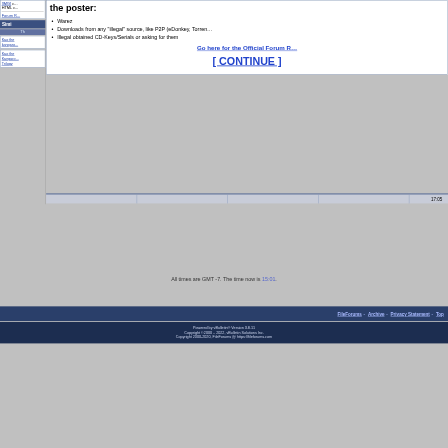the poster:
Warez
Downloads from any "illegal" source, like P2P (eDonkey, Torren…
Illegal obtained CD-Keys/Serials or asking for them
Go here for the Official Forum R…
[ CONTINUE ]
17:05
All times are GMT -7. The time now is 15:01.
FileForums - Archive - Privacy Statement - Top
Powered by vBulletin® Version 3.8.11
Copyright ©2000 – 2022, vBulletin Solutions Inc.
Copyright 2000-2020, FileForums @ https://fileforums.com